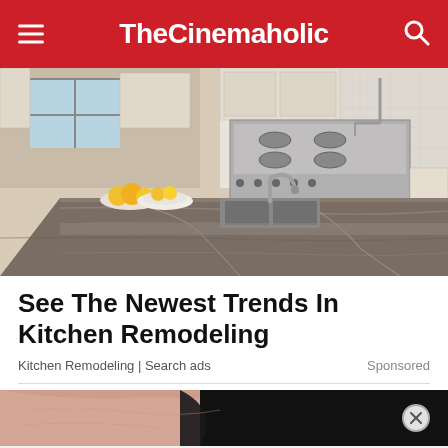TheCinemaholic
[Figure (photo): Luxury kitchen with granite island countertop, stainless steel faucet, bowl of fruit, white cabinetry, and professional range stove]
See The Newest Trends In Kitchen Remodeling
Kitchen Remodeling | Search ads    Sponsored
[Figure (photo): Close-up of skin against dark background, partial ad image]
[Figure (infographic): Victoria's Secret advertisement banner: SHOP THE COLLECTION with SHOP NOW button]